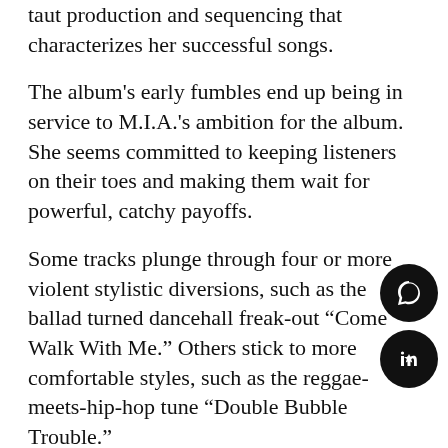taut production and sequencing that characterizes her successful songs.
The album's early fumbles end up being in service to M.I.A.'s ambition for the album. She seems committed to keeping listeners on their toes and making them wait for powerful, catchy payoffs.
Some tracks plunge through four or more violent stylistic diversions, such as the ballad turned dancehall freak-out “Come Walk With Me.” Others stick to more comfortable styles, such as the reggae-meets-hip-hop tune “Double Bubble Trouble.”
The production is at once mechanical and colorful. Every distorted drum hit and chopped up vocal is cut up and arranged carefully, even if the end result is chaotic and slippery.